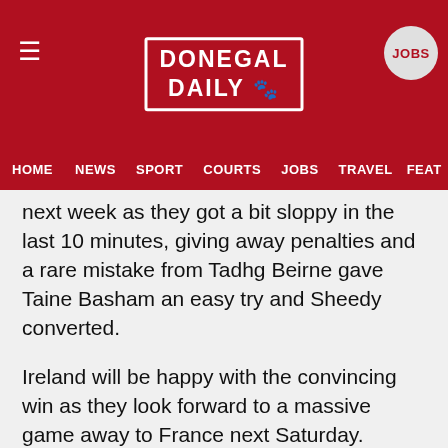DONEGAL DAILY
HOME  NEWS  SPORT  COURTS  JOBS  TRAVEL  FEAT
next week as they got a bit sloppy in the last 10 minutes, giving away penalties and a rare mistake from Tadhg Beirne gave Taine Basham an easy try and Sheedy converted.
Ireland will be happy with the convincing win as they look forward to a massive game away to France next Saturday.
Ireland: Porter, Kelleher, Furlong, Beirne, Ryan, Doris, Conan, Van Der Flier, Gibson-Park, Sexton, Aki, Ringrose, Hansen, Keenan, Conway